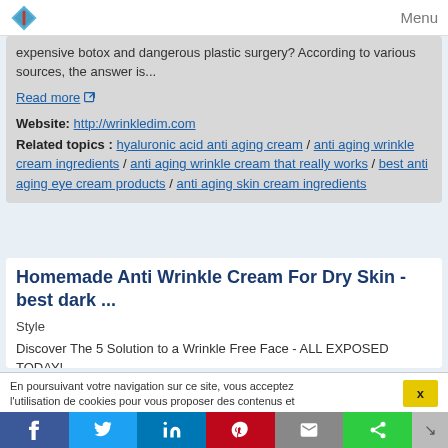Menu
expensive botox and dangerous plastic surgery? According to various sources, the answer is...
Read more
Website: http://wrinkledim.com
Related topics : hyaluronic acid anti aging cream / anti aging wrinkle cream ingredients / anti aging wrinkle cream that really works / best anti aging eye cream products / anti aging skin cream ingredients
Homemade Anti Wrinkle Cream For Dry Skin - best dark ...
Style
Discover The 5 Solution to a Wrinkle Free Face - ALL EXPOSED TODAY!
Various sources across the internet have exposed a HUGE
En poursuivant votre navigation sur ce site, vous acceptez l'utilisation de cookies pour vous proposer des contenus et
x